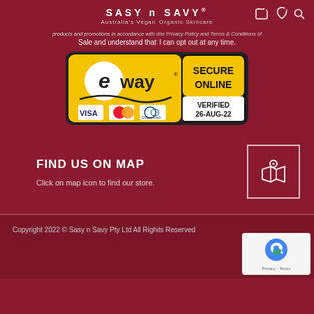SASY n SAVY® — Australia's Vegan Organic Skincare
products and promotions in accordance with the Privacy Policy and Terms & Conditions of Sale and understand that I can opt out at any time.
[Figure (logo): eWAY Secure Online Verified 26-AUG-22 badge with VISA, MasterCard, Diners Club logos]
FIND US ON MAP
Click on map icon to find our store.
Copyright 2022 © Sasy n Savy Pty Ltd All Rights Reserved